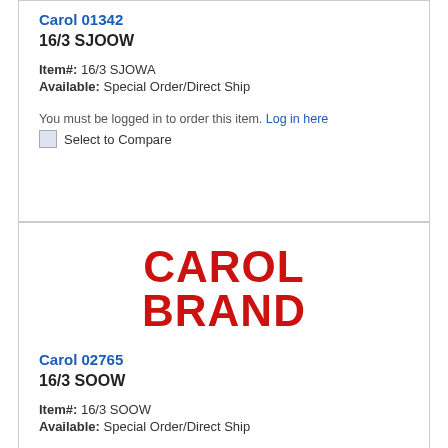Carol 01342
16/3 SJOOW
Item#: 16/3 SJOWA
Available: Special Order/Direct Ship
You must be logged in to order this item. Log in here
Select to Compare
[Figure (logo): Carol Brand logo in bold red serif text reading CAROL BRAND stacked on two lines]
Carol 02765
16/3 SOOW
Item#: 16/3 SOOW
Available: Special Order/Direct Ship
You must be logged in to order this item. Log in here
Select to Compare